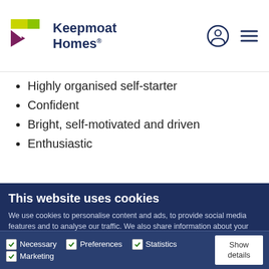Keepmoat Homes
Highly organised self-starter
Confident
Bright, self-motivated and driven
Enthusiastic
This website uses cookies
We use cookies to personalise content and ads, to provide social media features and to analyse our traffic. We also share information about your use of our site with our social media, advertising and analytics partners who may combine it with other information that you've provided to them or that they've collected from your use of their services.
Allow all cookies
Allow selection
Use necessary cookies only
Necessary  Preferences  Statistics  Marketing  Show details